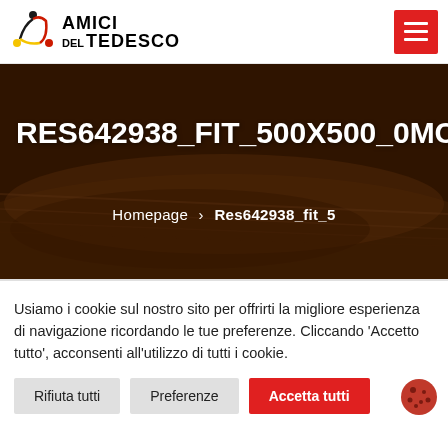AMICI DEL TEDESCO
RES642938_FIT_500X500_0MC18
Homepage › Res642938_fit_5
Usiamo i cookie sul nostro sito per offrirti la migliore esperienza di navigazione ricordando le tue preferenze. Cliccando 'Accetto tutto', acconsenti all'utilizzo di tutti i cookie.
Rifiuta tutti | Preferenze | Accetta tutti